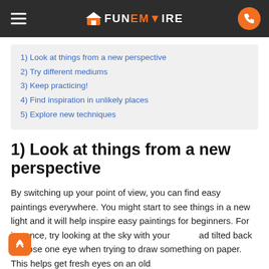FunEmpire
1) Look at things from a new perspective
2) Try different mediums
3) Keep practicing!
4) Find inspiration in unlikely places
5) Explore new techniques
1) Look at things from a new perspective
By switching up your point of view, you can find easy paintings everywhere. You might start to see things in a new light and it will help inspire easy paintings for beginners. For instance, try looking at the sky with your head tilted back or close one eye when trying to draw something on paper. This helps get fresh eyes on an old